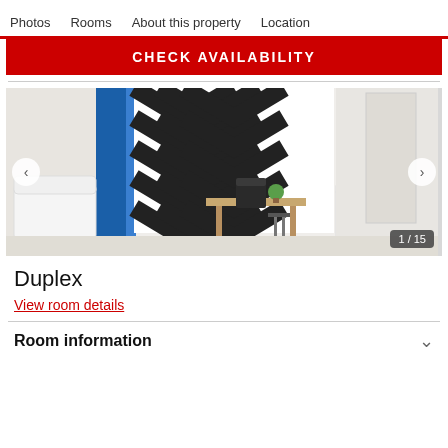Photos   Rooms   About this property   Location
CHECK AVAILABILITY
[Figure (photo): Interior room photo showing white furniture, a black chair, a wooden desk with a plant, and a bold black-and-white chevron patterned accent wall with blue panels on the left. Counter label shows 1 / 15.]
Duplex
View room details
Room information